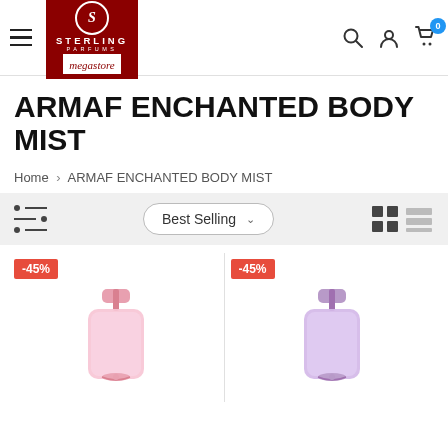Sterling Parfums Megastore — navigation header
ARMAF ENCHANTED BODY MIST
Home > ARMAF ENCHANTED BODY MIST
[Figure (screenshot): Filter/sort bar with filter icon, Best Selling dropdown, grid and list view icons]
[Figure (photo): Product card showing -45% discount badge and pink Armaf Enchanted Body Mist bottle]
[Figure (photo): Product card showing -45% discount badge and purple Armaf Enchanted Body Mist bottle]